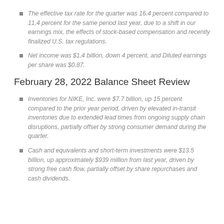The effective tax rate for the quarter was 16.4 percent compared to 11.4 percent for the same period last year, due to a shift in our earnings mix, the effects of stock-based compensation and recently finalized U.S. tax regulations.
Net income was $1.4 billion, down 4 percent, and Diluted earnings per share was $0.87.
February 28, 2022 Balance Sheet Review
Inventories for NIKE, Inc. were $7.7 billion, up 15 percent compared to the prior year period, driven by elevated in-transit inventories due to extended lead times from ongoing supply chain disruptions, partially offset by strong consumer demand during the quarter.
Cash and equivalents and short-term investments were $13.5 billion, up approximately $939 million from last year, driven by strong free cash flow, partially offset by share repurchases and cash dividends.